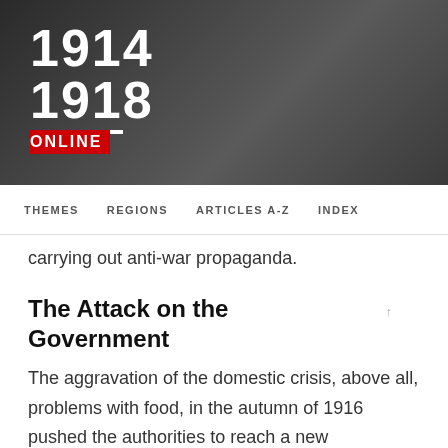[Figure (logo): 1914-1918 Online website header banner with dark background and logo showing years 1914 and 1918 with ONLINE in red box]
THEMES   REGIONS   ARTICLES A-Z   INDEX
carrying out anti-war propaganda.
The Attack on the Government
The aggravation of the domestic crisis, above all, problems with food, in the autumn of 1916 pushed the authorities to reach a new compromise with the opposition. The Deputy Chairman of the Duma and member of the Progressive Bloc, Aleksandr Dmitrievich Protopopov